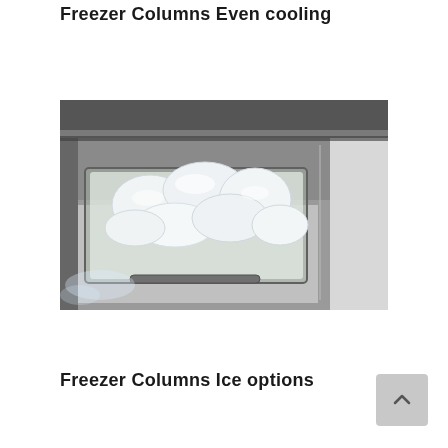Freezer Columns Even cooling
[Figure (photo): Close-up photo of an open freezer drawer containing a transparent ice bin filled with large ice cubes, with stainless steel interior visible]
Freezer Columns Ice options